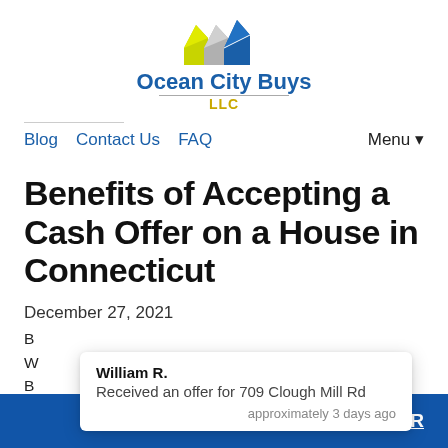[Figure (logo): Ocean City Buys LLC logo with house icon shapes in yellow, gray, and blue, with company name below]
Blog  Contact Us  FAQ  Menu ▾
Benefits of Accepting a Cash Offer on a House in Connecticut
December 27, 2021
B
W                                                                    nge.
B                                                                    entire
William R.
Received an offer for 709 Clough Mill Rd
approximately 3 days ago
Call Us! 781-88-OFFER